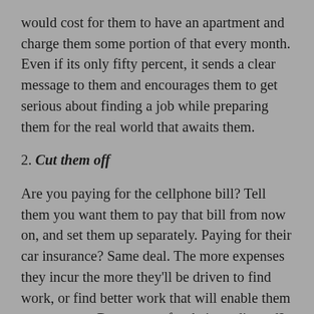would cost for them to have an apartment and charge them some portion of that every month. Even if its only fifty percent, it sends a clear message to them and encourages them to get serious about finding a job while preparing them for the real world that awaits them.
2. Cut them off
Are you paying for the cellphone bill? Tell them you want them to pay that bill from now on, and set them up separately. Paying for their car insurance? Same deal. The more expenses they incur the more they'll be driven to find work, or find better work that will enable them to move out. Do you pay for their credit card?